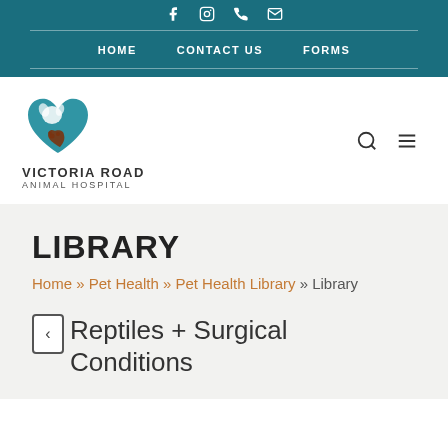f  Instagram  phone  email
HOME   CONTACT US   FORMS
[Figure (logo): Victoria Road Animal Hospital logo — teal and brown heart with dog silhouette]
LIBRARY
Home » Pet Health » Pet Health Library » Library
Reptiles + Surgical Conditions